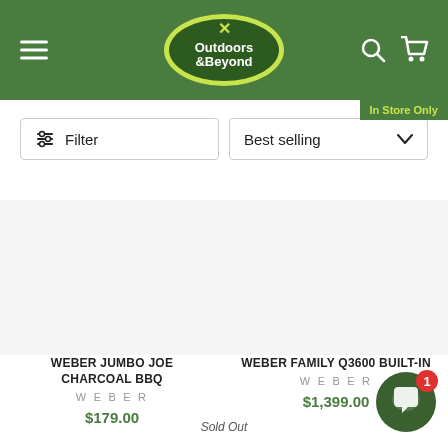[Figure (logo): Outdoors & Beyond logo with tent icon on dark green oval with yellow border, white text]
In Store Only
Filter
Best selling
WEBER JUMBO JOE CHARCOAL BBQ
WEBER
$179.00
WEBER FAMILY Q3600 BUILT-IN
WEBER
$1,399.00
Sold Out